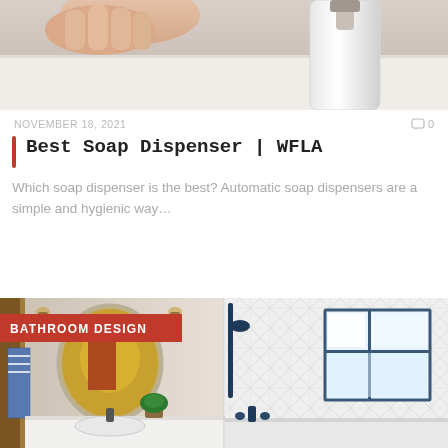[Figure (photo): Hand reaching for a white soap dispenser, close-up product photo with white/grey background]
NOVEMBER 18, 2021
0
Best Soap Dispenser | WFLA
Which soap dispenser is the best? Automatic soap dispensers are a simple and hygienic way…
[Figure (photo): Bathroom design photos showing two bathrooms side by side: left shows warm-toned bathroom with round mirror and wall sconces; right shows white herringbone tile shower with window and bathtub. Red badge reads BATHROOM DESIGN.]